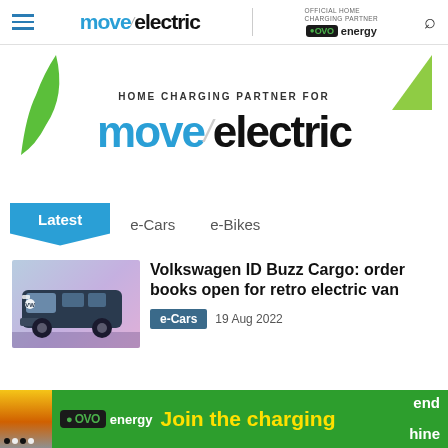move electric | OFFICIAL HOME CHARGING PARTNER ovo energy
[Figure (logo): Move Electric logo with green leaf decorations and HOME CHARGING PARTNER FOR move electric banner]
Latest   e-Cars   e-Bikes
[Figure (photo): Volkswagen ID Buzz Cargo electric van promotional image]
Volkswagen ID Buzz Cargo: order books open for retro electric van
e-Cars   19 Aug 2022
[Figure (infographic): OVO energy advertisement banner - Join the charging - end hine]